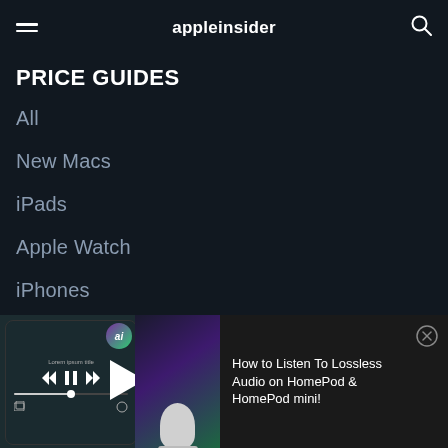appleinsider
PRICE GUIDES
All
New Macs
iPads
Apple Watch
iPhones
Apple TV & Accessories
AirPods & Homepode
[Figure (screenshot): Video player showing a phone screen with playback controls (rewind, pause, forward, play button) and a HomePod mini device, with an 'ai' badge overlay]
How to Listen To Lossless Audio on HomePod & HomePod mini!